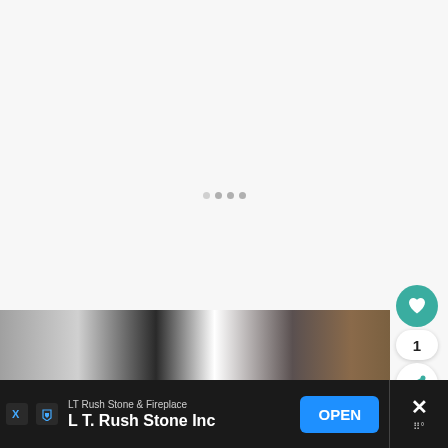[Figure (screenshot): White/light gray content area with loading dots indicator visible in center]
[Figure (photo): Partial photo of cats visible at bottom — dark/black cat on left and brown/tabby cat on right, indoor setting with wooden furniture]
[Figure (screenshot): Teal circular heart/favorite FAB button with heart icon]
1
[Figure (screenshot): White circular share FAB button with share icon]
LT Rush Stone & Fireplace
L T. Rush Stone Inc
OPEN